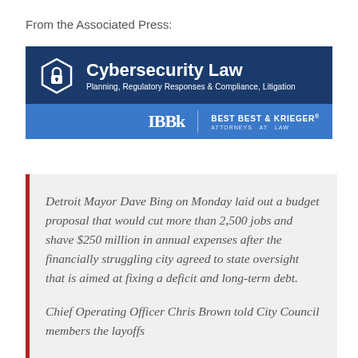From the Associated Press:
[Figure (logo): Cybersecurity Law banner with lock icon, subtitle 'Planning, Regulatory Responses & Compliance, Litigation', and Best Best & Krieger Attorneys at Law logo on blue background]
Detroit Mayor Dave Bing on Monday laid out a budget proposal that would cut more than 2,500 jobs and shave $250 million in annual expenses after the financially struggling city agreed to state oversight that is aimed at fixing a deficit and long-term debt.
Chief Operating Officer Chris Brown told City Council members the layoffs